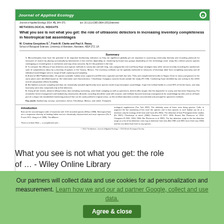[Figure (screenshot): Screenshot of a Wiley Online Library / Journal of Applied Ecology article page showing the paper 'What you see is not what you get: the role of ultrasonic detectors in increasing inventory completeness in Neotropical bat assemblages' with summary, authors, and introduction text.]
What you see is not what you get: the role of ... - Wiley Online Library
Our partners will collect data and use cookies for ad personalization and measurement. Learn how we and our ad partner Google, collect and use data.
Agree & close